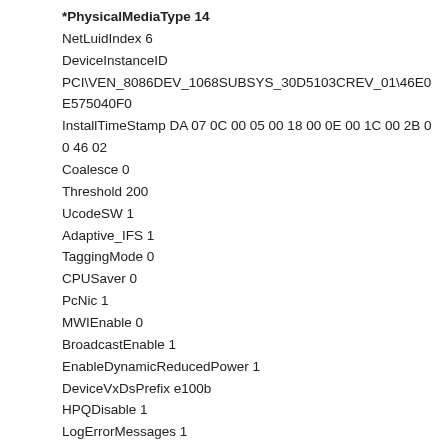*PhysicalMediaType 14
NetLuidIndex 6
DeviceInstanceID
PCI\VEN_8086DEV_1068SUBSYS_30D5103CREV_01\46E0E575040F0
InstallTimeStamp DA 07 0C 00 05 00 18 00 0E 00 1C 00 2B 00 46 02
Coalesce 0
Threshold 200
UcodeSW 1
Adaptive_IFS 1
TaggingMode 0
CPUSaver 0
PcNic 1
MWIEnable 0
BroadcastEnable 1
EnableDynamicReducedPower 1
DeviceVxDsPrefix e100b
HPQDisable 1
LogErrorMessages 1
AutoPowerSaveModeEnabled 0
BusType 5